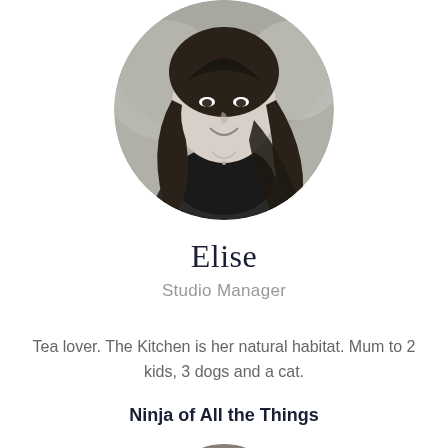[Figure (photo): Circular black and white photo of a woman with long hair, smiling, wearing a dark top, outdoors with blurred background]
Elise
Studio Manager
Tea lover. The Kitchen is her natural habitat. Mum to 2 kids, 3 dogs and a cat.
Ninja of All the Things
[Figure (photo): Circular black and white photo of a man with glasses, partially visible at the bottom of the page]